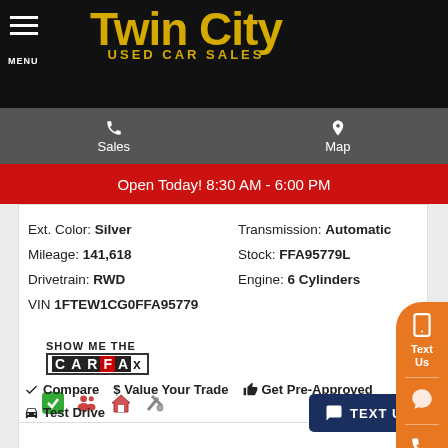Twin City Used Car Sales
Sales | Map
Open Today! 8:30 AM - 6:00 PM
Ext. Color: Silver
Mileage: 141,618
Drivetrain: RWD
VIN 1FTEW1CG0FFA95779
Transmission: Automatic
Stock: FFA95779L
Engine: 6 Cylinders
[Figure (logo): Show Me The Carfax logo]
[Figure (illustration): Four small icons: green checkmark, group of people, house, wrench/tools]
Compare  $ Value Your Trade  Get Pre-Approved  Test Drive
TEXT US